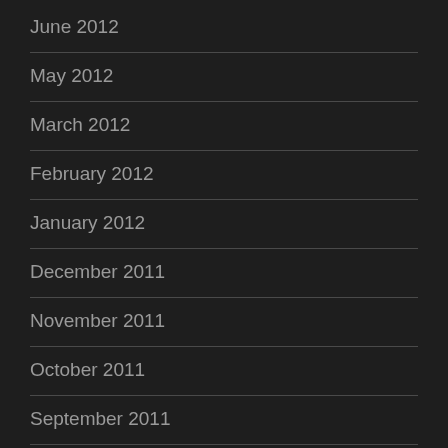June 2012
May 2012
March 2012
February 2012
January 2012
December 2011
November 2011
October 2011
September 2011
August 2011
July 2011